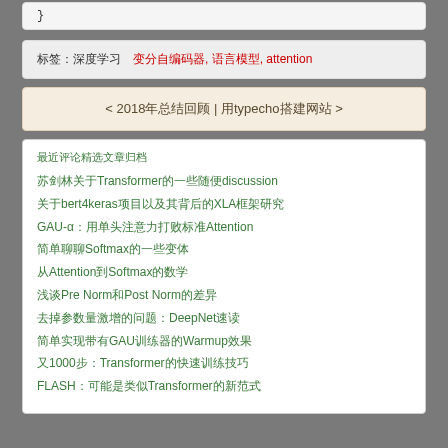}
标签：深度学习　变分自编码器, 语言模型, attention
< 2018年总结回顾 | 用typecho搭建网站 >
最近评论精选文章归档
苏剑林关于Transformer的一些随便discussion
关于bert4keras项目以及其背后的XLA框架研究
GAU-α：用单头注意力打败标准Attention
简单聊聊Softmax的一些变体
从Attention到Softmax的数学
浅谈Pre Norm和Post Norm的差异
去掉参数量激增的问题：DeepNet速读
简单实现带有GAU训练器的Warmup效果
又1000步：Transformer的快速训练技巧
FLASH：可能是类似Transformer的新范式